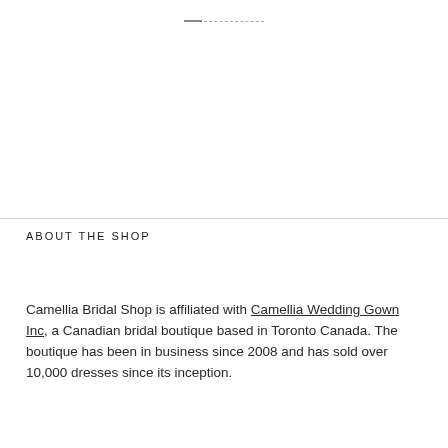— · · · · · · · · · ·
ABOUT THE SHOP
Camellia Bridal Shop is affiliated with Camellia Wedding Gown Inc, a Canadian bridal boutique based in Toronto Canada. The boutique has been in business since 2008 and has sold over 10,000 dresses since its inception.